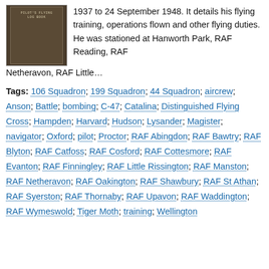[Figure (photo): A photograph of a worn brown logbook or notebook cover, shown inside a light border frame.]
1937 to 24 September 1948. It details his flying training, operations flown and other flying duties. He was stationed at Hanworth Park, RAF Reading, RAF Netheravon, RAF Little…
Tags: 106 Squadron; 199 Squadron; 44 Squadron; aircrew; Anson; Battle; bombing; C-47; Catalina; Distinguished Flying Cross; Hampden; Harvard; Hudson; Lysander; Magister; navigator; Oxford; pilot; Proctor; RAF Abingdon; RAF Bawtry; RAF Blyton; RAF Catfoss; RAF Cosford; RAF Cottesmore; RAF Evanton; RAF Finningley; RAF Little Rissington; RAF Manston; RAF Netheravon; RAF Oakington; RAF Shawbury; RAF St Athan; RAF Syerston; RAF Thornaby; RAF Upavon; RAF Waddington; RAF Wymeswold; Tiger Moth; training; Wellington